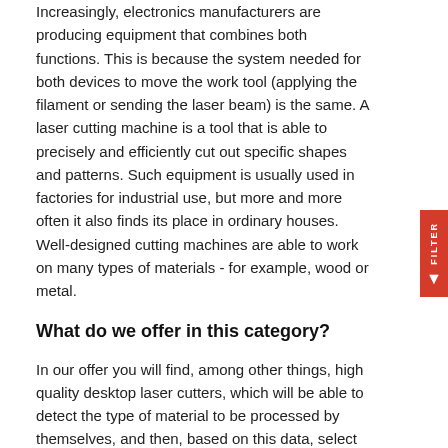Increasingly, electronics manufacturers are producing equipment that combines both functions. This is because the system needed for both devices to move the work tool (applying the filament or sending the laser beam) is the same. A laser cutting machine is a tool that is able to precisely and efficiently cut out specific shapes and patterns. Such equipment is usually used in factories for industrial use, but more and more often it also finds its place in ordinary houses. Well-designed cutting machines are able to work on many types of materials - for example, wood or metal.
What do we offer in this category?
In our offer you will find, among other things, high quality desktop laser cutters, which will be able to detect the type of material to be processed by themselves, and then, based on this data, select the parameters of the beam from the leser. It is very important that during the cutting process the device uses a beam, which at the same time will be able to fire fragments of the material, but the high temperature created in the vicinity of the place to be processed will not adversely affect the surface of the material. For example, using the same beam strength to cut metal and plastic will result in unsightly distortions of the plastic surface.